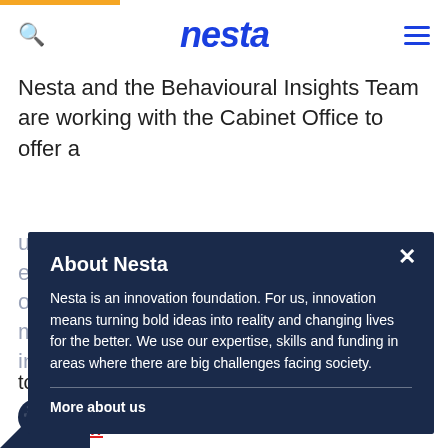nesta
Nesta and the Behavioural Insights Team are working with the Cabinet Office to offer a unique opportunity to three local areas to explore and test new and innovative ways of mobilising people and communities to improve lives for the better.
About Nesta
Nesta is an innovation foundation. For us, innovation means turning bold ideas into reality and changing lives for the better. We use our expertise, skills and funding in areas where there are big challenges facing society.
More about us
Social movements, behavioural insights and social networks are increasingly being recognised as approaches with the potential to improve health and care through and by people. NHS England's Five Year Forward View